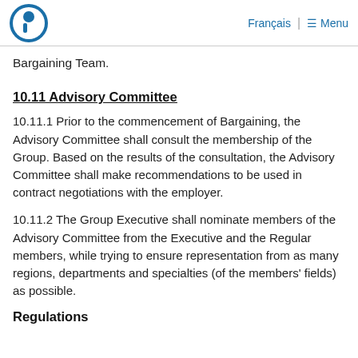Français | Menu
Bargaining Team.
10.11 Advisory Committee
10.11.1 Prior to the commencement of Bargaining, the Advisory Committee shall consult the membership of the Group. Based on the results of the consultation, the Advisory Committee shall make recommendations to be used in contract negotiations with the employer.
10.11.2 The Group Executive shall nominate members of the Advisory Committee from the Executive and the Regular members, while trying to ensure representation from as many regions, departments and specialties (of the members' fields) as possible.
Regulations